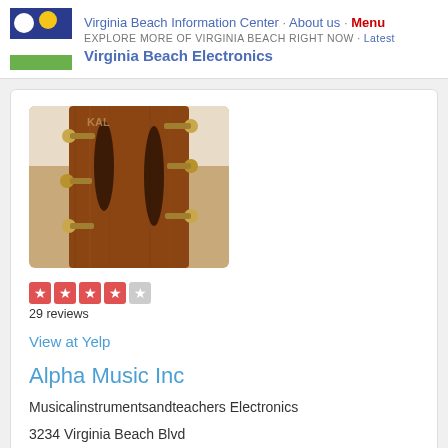Virginia Beach Information Center · About us · Menu
EXPLORE MORE OF VIRGINIA BEACH RIGHT NOW · Latest
Virginia Beach Electronics
[Figure (photo): Close-up photo of the headstock of a Kala ukulele showing tuning pegs and wood grain]
[Figure (other): 4.5 out of 5 stars rating displayed as colored star boxes]
29 reviews
View at Yelp
Alpha Music Inc
Musicalinstrumentsandteachers Electronics
3234 Virginia Beach Blvd
Virginia Beach, VA 23452